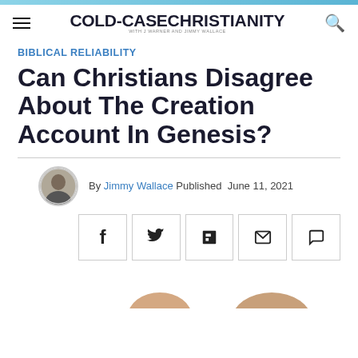COLD-CASE CHRISTIANITY WITH J WARNER AND JIMMY WALLACE
BIBLICAL RELIABILITY
Can Christians Disagree About The Creation Account In Genesis?
By Jimmy Wallace Published June 11, 2021
[Figure (other): Social share buttons: Facebook, Twitter, Flipboard, Email, Comment]